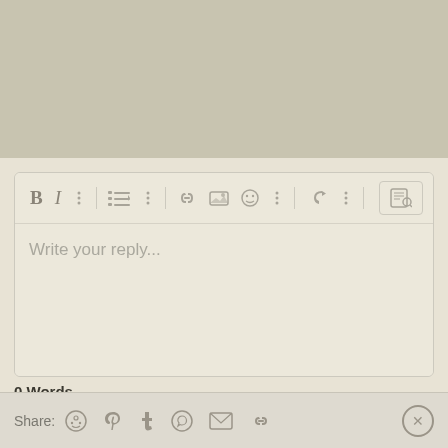[Figure (screenshot): Reply text editor interface with toolbar icons (Bold, Italic, dots, list, dots, link, image, emoji, dots, undo, dots, preview), a text area with placeholder 'Write your reply...', a word count showing '0 Words', a 'Post reply' button, and a share bar at the bottom with Share: Reddit, Pinterest, Tumblr, WhatsApp, Email, Link icons and a close button.]
Write your reply...
0 Words
Post reply
Share: